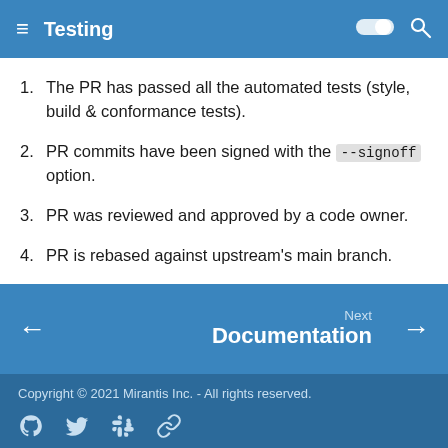Testing
The PR has passed all the automated tests (style, build & conformance tests).
PR commits have been signed with the --signoff option.
PR was reviewed and approved by a code owner.
PR is rebased against upstream's main branch.
Next Documentation
Copyright © 2021 Mirantis Inc. - All rights reserved.